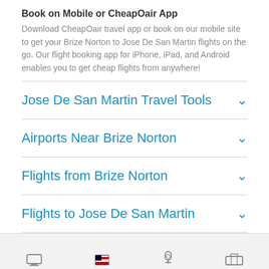Book on Mobile or CheapOair App
Download CheapOair travel app or book on our mobile site to get your Brize Norton to Jose De San Martin flights on the go. Our flight booking app for iPhone, iPad, and Android enables you to get cheap flights from anywhere!
Jose De San Martin Travel Tools
Airports Near Brize Norton
Flights from Brize Norton
Flights to Jose De San Martin
CheapOair › Flights › South America › Argentina › Jose De San Martin › BZZ to JSM
Desktop | English | Català | My Trips